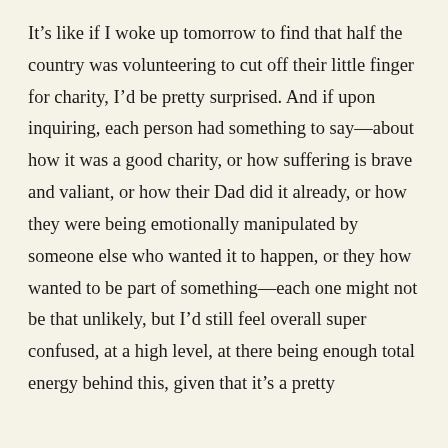It's like if I woke up tomorrow to find that half the country was volunteering to cut off their little finger for charity, I'd be pretty surprised. And if upon inquiring, each person had something to say—about how it was a good charity, or how suffering is brave and valiant, or how their Dad did it already, or how they were being emotionally manipulated by someone else who wanted it to happen, or they how wanted to be part of something—each one might not be that unlikely, but I'd still feel overall super confused, at a high level, at there being enough total energy behind this, given that it's a pretty